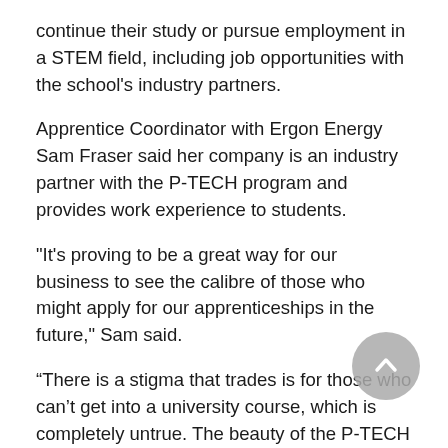continue their study or pursue employment in a STEM field, including job opportunities with the school's industry partners.
Apprentice Coordinator with Ergon Energy Sam Fraser said her company is an industry partner with the P-TECH program and provides work experience to students.
"It's proving to be a great way for our business to see the calibre of those who might apply for our apprenticeships in the future," Sam said.
“There is a stigma that trades is for those who can’t get into a university course, which is completely untrue. The beauty of the P-TECH program is that students are exposed to roles that can help them develop into great future engineers.”